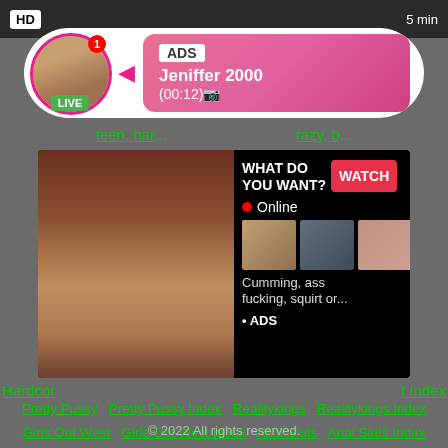[Figure (screenshot): Top dark bar with HD badge and 5 min text]
[Figure (screenshot): Notification popup with avatar, LIVE badge, ADS label, Jeniffer 2000 (00:12) text]
teen, har... ...crazy, b...
[Figure (screenshot): Ad banner with woman photo on left, WHAT DO YOU WANT? WATCH button, Online indicator, thumbnails, Cumming, ass fucking, squirt or... • ADS]
Hardcor... ...t Index
Pretty Pussy   Pretty Pussy Index   Realitykings   Realitykings Index
Girls Out West   Girls Out West Index   Anal Sluts   Anal Sluts Index
Yuoporn   Yuoporn Index   Straight Porn   Straight Porn Index   Hot
Hot Index   Fatty   Fatty Index
© 2022 All rights reserved.